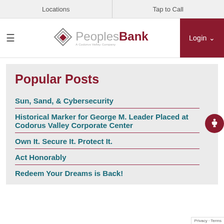Locations | Tap to Call
[Figure (logo): PeoplesBank logo - A Codorus Valley Company]
Login
Popular Posts
Sun, Sand, & Cybersecurity
Historical Marker for George M. Leader Placed at Codorus Valley Corporate Center
Own It. Secure It. Protect It.
Act Honorably
Redeem Your Dreams is Back!